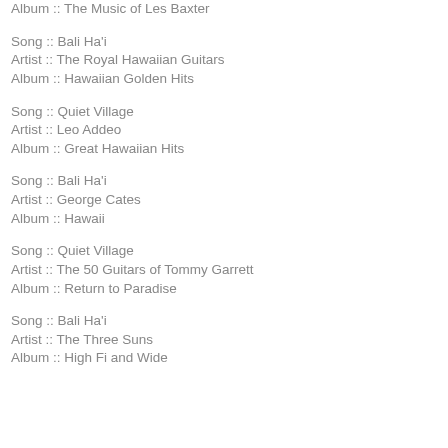Album :: The Music of Les Baxter
Song :: Bali Ha'i
Artist :: The Royal Hawaiian Guitars
Album :: Hawaiian Golden Hits
Song :: Quiet Village
Artist :: Leo Addeo
Album :: Great Hawaiian Hits
Song :: Bali Ha'i
Artist :: George Cates
Album :: Hawaii
Song :: Quiet Village
Artist :: The 50 Guitars of Tommy Garrett
Album :: Return to Paradise
Song :: Bali Ha'i
Artist :: The Three Suns
Album :: High Fi and Wide